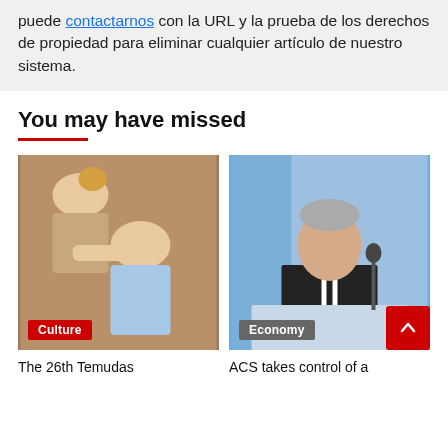puede contactarnos con la URL y la prueba de los derechos de propiedad para eliminar cualquier artículo de nuestro sistema.
You may have missed
[Figure (photo): Two people, one bowing head, sports/culture context. Category badge: Culture.]
[Figure (photo): Elderly man in suit at podium with microphone, blue background. Category badge: Economy.]
The 26th Temudas
ACS takes control of a